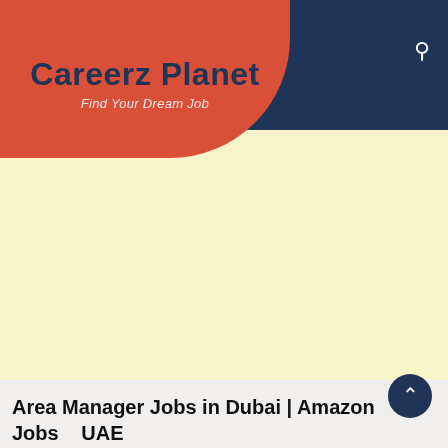Careerz Planet — Find Your Dream Job
[Figure (logo): Careerz Planet logo: red rounded blob on dark navy header bar with bold navy text 'Careerz Planet' and italic subtitle 'Find Your Dream Job']
Area Manager Jobs in Dubai | Amazon Jobs UAE 2022